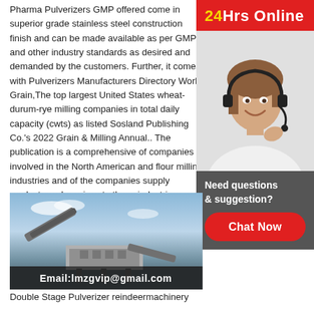Pharma Pulverizers GMP offered come in superior grade stainless steel construction finish and can be made available as per GMP and other industry standards as desired and demanded by the customers. Further, it comes with Pulverizers Manufacturers Directory World Grain,The top largest United States wheat-durum-rye milling companies in total daily capacity (cwts) as listed Sosland Publishing Co.'s 2022 Grain & Milling Annual.. The publication is a comprehensive of companies involved in the North American and flour milling industries and of the companies supply products and services to those industries
[Figure (photo): Customer service agent (woman with headset) photo with '24Hrs Online' red banner overlay and dark gray 'Need questions & suggestion? Chat Now' box below.]
[Figure (photo): Double Stage Pulverizer machine outdoors against a partly cloudy sky. Dark overlay at bottom reads 'Email:lmzgvip@gmail.com'.]
Double Stage Pulverizer reindeermachinery